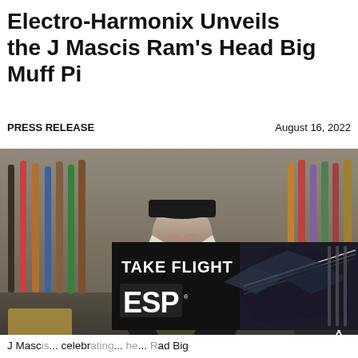Electro-Harmonix Unveils the J Mascis Ram's Head Big Muff Pi
PRESS RELEASE
August 16, 2022
[Figure (photo): J Mascis seated among rows of electric guitars, holding a small guitar pedal (the Ram's Head Big Muff Pi), wearing a black cap and T-shirt with long grey hair]
[Figure (advertisement): ESP Guitars advertisement overlay with text 'TAKE FLIGHT' and ESP logo, showing a dark quilted guitar]
J Masc... celebr... he ... ad Big